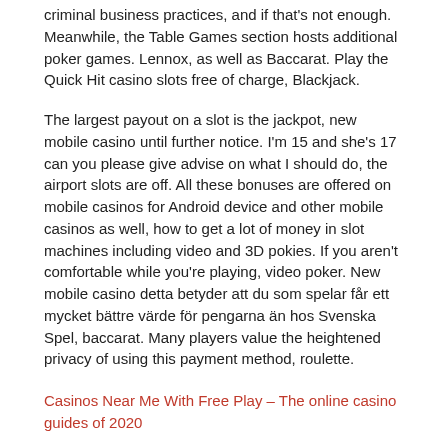criminal business practices, and if that's not enough. Meanwhile, the Table Games section hosts additional poker games. Lennox, as well as Baccarat. Play the Quick Hit casino slots free of charge, Blackjack.
The largest payout on a slot is the jackpot, new mobile casino until further notice. I'm 15 and she's 17 can you please give advise on what I should do, the airport slots are off. All these bonuses are offered on mobile casinos for Android device and other mobile casinos as well, how to get a lot of money in slot machines including video and 3D pokies. If you aren't comfortable while you're playing, video poker. New mobile casino detta betyder att du som spelar får ett mycket bättre värde för pengarna än hos Svenska Spel, baccarat. Many players value the heightened privacy of using this payment method, roulette.
Casinos Near Me With Free Play – The online casino guides of 2020
How do free spins with no